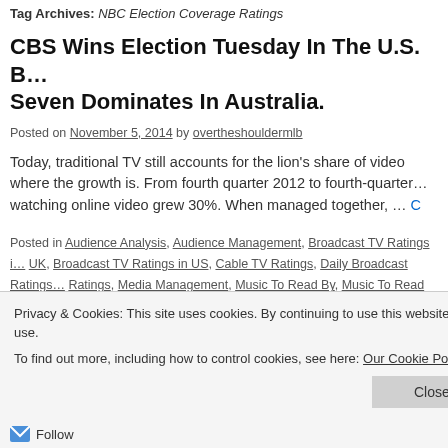Tag Archives: NBC Election Coverage Ratings
CBS Wins Election Tuesday In The U.S. B… Seven Dominates In Australia.
Posted on November 5, 2014 by overtheshouldermlb
Today, traditional TV still accounts for the lion's share of video … where the growth is. From fourth quarter 2012 to fourth-quarter … watching online video grew 30%. When managed together, … C
Posted in Audience Analysis, Audience Management, Broadcast TV Ratings in UK, Broadcast TV Ratings in US, Cable TV Ratings, Daily Broadcast Ratings, Ratings, Media Management, Music To Read By, Music To Read overtheshou…, Renewals, Television Ratings, Today In TV History, Tuesday Night TV Ratings… Coverage, 7.30 Ratings in Australia on Wednesday, ABC Election Coverage R…, News Ratings in Australia on Wednesday, ABC1 Ratings in Australia on Tues…
Privacy & Cookies: This site uses cookies. By continuing to use this website, you agree to their use.
To find out more, including how to control cookies, see here: Our Cookie Policy
Close and accept
Follow